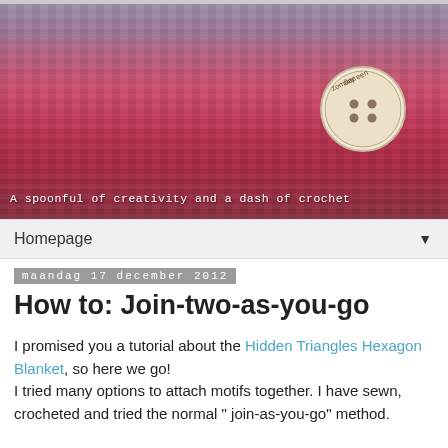[Figure (photo): Close-up photo of colorful crocheted blanket in shades of purple, pink, and red/crimson, with a wooden button on the right side reading 'zomaar een dag'. Subtitle text reads: A spoonful of creativity and a dash of crochet]
Homepage ▼
maandag 17 december 2012
How to: Join-two-as-you-go
I promised you a tutorial about the Hidden Triangles Hexagon Blanket, so here we go!
I tried many options to attach motifs together. I have sewn, crocheted and tried the normal " join-as-you-go" method.